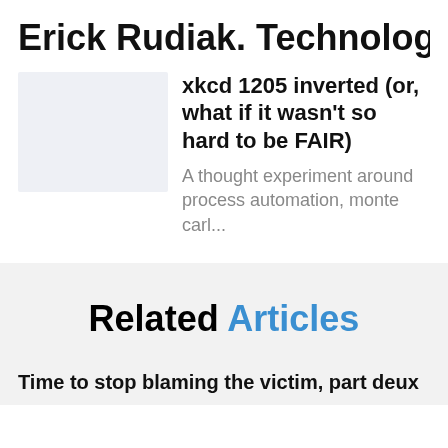Erick Rudiak. Technology Exe...
xkcd 1205 inverted (or, what if it wasn't so hard to be FAIR)
A thought experiment around process automation, monte carl...
Related Articles
Time to stop blaming the victim, part deux